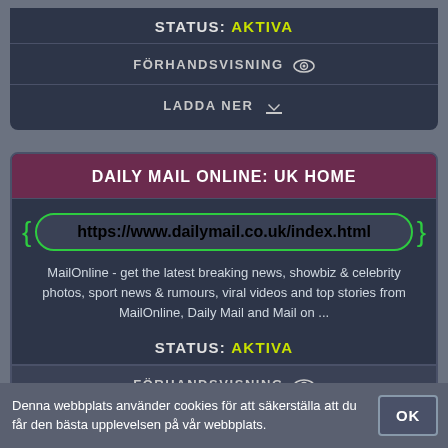STATUS: AKTIVA
FÖRHANDSVISNING
LADDA NER
DAILY MAIL ONLINE: UK HOME
https://www.dailymail.co.uk/index.html
MailOnline - get the latest breaking news, showbiz & celebrity photos, sport news & rumours, viral videos and top stories from MailOnline, Daily Mail and Mail on ...
STATUS: AKTIVA
FÖRHANDSVISNING
Denna webbplats använder cookies för att säkerställa att du får den bästa upplevelsen på vår webbplats.